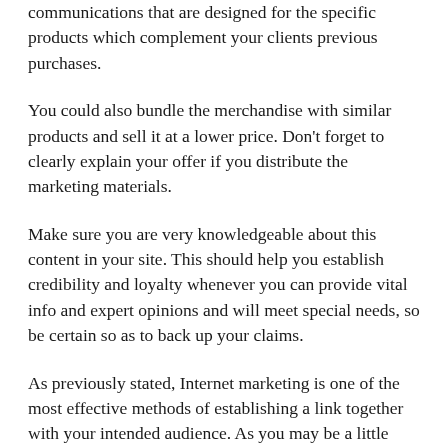communications that are designed for the specific products which complement your clients previous purchases.
You could also bundle the merchandise with similar products and sell it at a lower price. Don't forget to clearly explain your offer if you distribute the marketing materials.
Make sure you are very knowledgeable about this content in your site. This should help you establish credibility and loyalty whenever you can provide vital info and expert opinions and will meet special needs, so be certain so as to back up your claims.
As previously stated, Internet marketing is one of the most effective methods of establishing a link together with your intended audience. As you may be a little more knowledgeable about the different ways Online marketing works extremely well, it is possible to custom